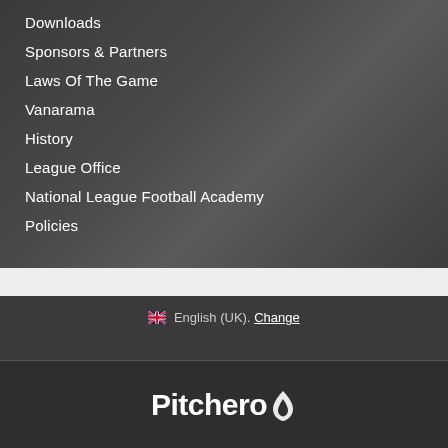Downloads
Sponsors & Partners
Laws Of The Game
Vanarama
History
League Office
National League Football Academy
Policies
🇬🇧 English (UK). Change
[Figure (logo): Pitchero logo in white text with a flame/ball icon]
Pitchero